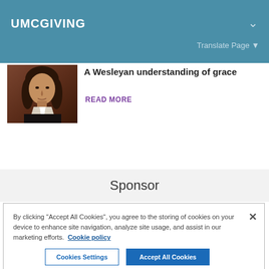UMCGIVING
Translate Page ▼
[Figure (photo): Portrait painting of a historical figure in dark clothing with white collar, likely John Wesley]
A Wesleyan understanding of grace
READ MORE
Sponsor
By clicking "Accept All Cookies", you agree to the storing of cookies on your device to enhance site navigation, analyze site usage, and assist in our marketing efforts.  Cookie policy